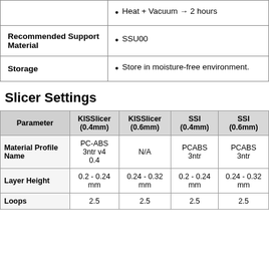|  |  |
| --- | --- |
|  | Heat + Vacuum → 2 hours |
| Recommended Support Material | SSU00 |
| Storage | Store in moisture-free environment. |
Slicer Settings
| Parameter | KISSlicer (0.4mm) | KISSlicer (0.6mm) | SSI (0.4mm) | SSI (0.6mm) |
| --- | --- | --- | --- | --- |
| Material Profile Name | PC-ABS 3ntr v4 0.4 | N/A | PCABS 3ntr | PCABS 3ntr |
| Layer Height | 0.2 - 0.24 mm | 0.24 - 0.32 mm | 0.2 - 0.24 mm | 0.24 - 0.32 mm |
| Loops | 2.5 | 2.5 | 2.5 | 2.5 |